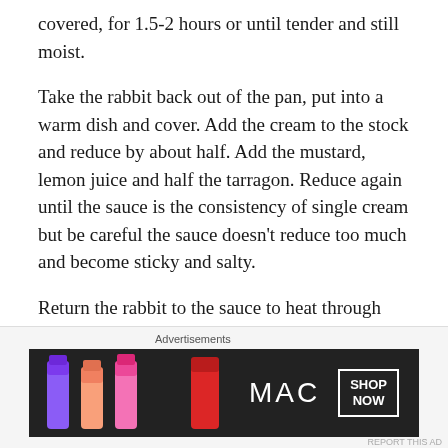covered, for 1.5-2 hours or until tender and still moist.
Take the rabbit back out of the pan, put into a warm dish and cover. Add the cream to the stock and reduce by about half. Add the mustard, lemon juice and half the tarragon. Reduce again until the sauce is the consistency of single cream but be careful the sauce doesn’t reduce too much and become sticky and salty.
Return the rabbit to the sauce to heat through and add the rest of the tarragon just before serving.
(Original recipe from Food from Plenty by Diana Henry, Mitchell Beazley, 2010.)
[Figure (other): MAC Cosmetics advertisement banner showing lipsticks in purple, peach, and pink/red colors with MAC logo and SHOP NOW button]